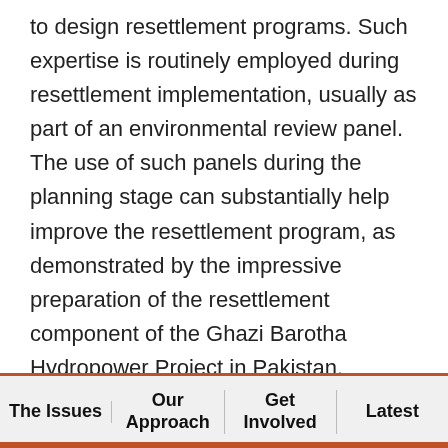to design resettlement programs. Such expertise is routinely employed during resettlement implementation, usually as part of an environmental review panel. The use of such panels during the planning stage can substantially help improve the resettlement program, as demonstrated by the impressive preparation of the resettlement component of the Ghazi Barotha Hydropower Project in Pakistan.
Establish systems for preparation, review, and approval of resettlement plans. While carefully prepared resettlement plans are required for all projects assisted by multi-lateral and bilateral institutions, there may be no established mechanisms
The Issues | Our Approach | Get Involved | Latest